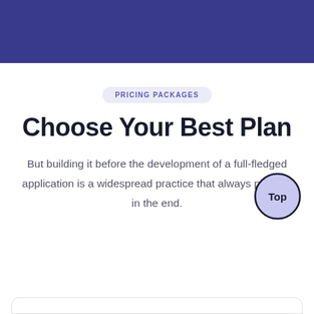[Figure (other): Dark blue/indigo header banner bar at top of page]
PRICING PACKAGES
Choose Your Best Plan
But building it before the development of a full-fledged application is a widespread practice that always pays off in the end.
[Figure (other): Circular 'Top' button in bottom-right corner, lavender fill with dark border and bold 'Top' label]
[Figure (other): Rounded rectangle box outline at very bottom of page]